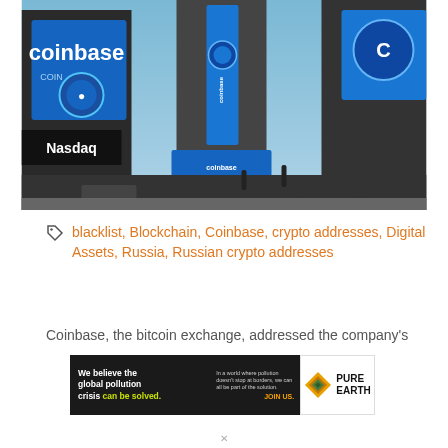[Figure (photo): Street-level upward view of Times Square buildings covered in large blue Coinbase and Nasdaq advertisement banners and digital billboards against a blue sky.]
blacklist, Blockchain, Coinbase, crypto addresses, Digital Assets, Russia, Russian crypto addresses
Coinbase, the bitcoin exchange, addressed the company's
[Figure (illustration): Advertisement banner for Pure Earth: dark background on left with text 'We believe the global pollution crisis can be solved.' and on right side 'In a world where pollution doesn't stop at borders, we can all be part of the solution. JOIN US.' with Pure Earth logo (diamond shape with leaf) and PURE EARTH text.]